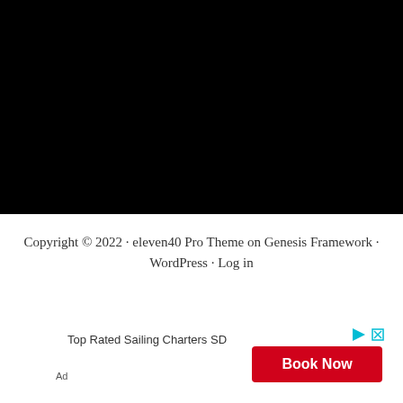[Figure (other): Black rectangular block covering upper portion of page]
Copyright © 2022 · eleven40 Pro Theme on Genesis Framework · WordPress · Log in
Top Rated Sailing Charters SD
[Figure (other): Book Now advertisement button in red with play and close icons]
Ad